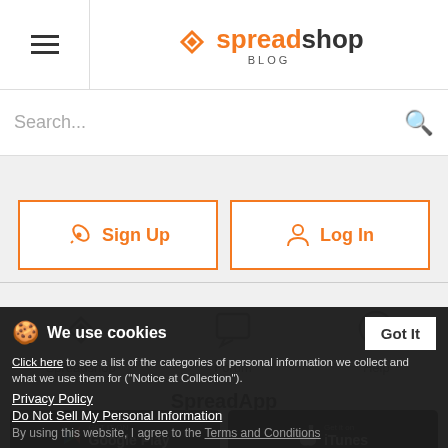spreadshop BLOG
Search...
[Figure (screenshot): Sign Up and Log In buttons with orange border and icons]
[Figure (infographic): Three navigation icons: Spreadshop (heart/diamond), Forum (speech bubble), Help (question mark circle) with labels]
SpreadApp
[Figure (screenshot): Google Play and iTunes app store download buttons]
We use cookies
Click here to see a list of the categories of personal information we collect and what we use them for ("Notice at Collection").
Privacy Policy
Do Not Sell My Personal Information
By using this website, I agree to the Terms and Conditions